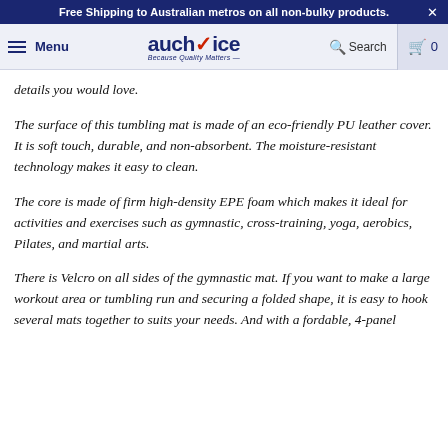Free Shipping to Australian metros on all non-bulky products.
[Figure (logo): auchoice logo with hamburger menu, search and cart icons in navigation bar]
details you would love.
The surface of this tumbling mat is made of an eco-friendly PU leather cover. It is soft touch, durable, and non-absorbent. The moisture-resistant technology makes it easy to clean.
The core is made of firm high-density EPE foam which makes it ideal for activities and exercises such as gymnastic, cross-training, yoga, aerobics, Pilates, and martial arts.
There is Velcro on all sides of the gymnastic mat. If you want to make a large workout area or tumbling run and securing a folded shape, it is easy to hook several mats together to suits your needs. And with a fordable, 4-panel